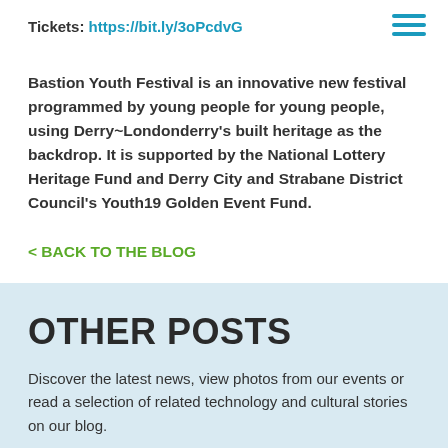Tickets: https://bit.ly/3oPcdvG
Bastion Youth Festival is an innovative new festival programmed by young people for young people, using Derry~Londonderry's built heritage as the backdrop. It is supported by the National Lottery Heritage Fund and Derry City and Strabane District Council's Youth19 Golden Event Fund.
< BACK TO THE BLOG
OTHER POSTS
Discover the latest news, view photos from our events or read a selection of related technology and cultural stories on our blog.